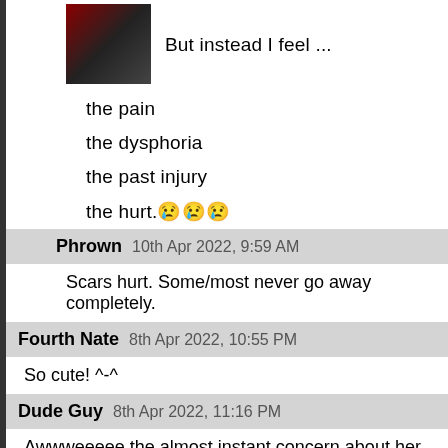[Figure (photo): Avatar image of a person in dark clothing, partially visible at top]
But instead I feel ...
the pain
the dysphoria
the past injury
the hurt.😢😢😢
Phrown   10th Apr 2022, 9:59 AM
Scars hurt. Some/most never go away completely.
Fourth Nate   8th Apr 2022, 10:55 PM
So cute! ^-^
Dude Guy   8th Apr 2022, 11:16 PM
Awwweeeee the almost instant concern about her mother
iHateFridays   10th Apr 2022, 8:52 AM
Super cuteee
Pseudonym   11th Apr 2022, 1:59 AM